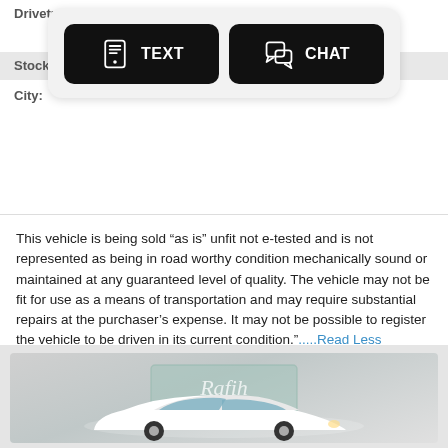Drivetrain:
Stock #:
City:
[Figure (screenshot): Mobile popup with TEXT and CHAT buttons on dark rounded rectangles, overlaid on a vehicle listing page.]
This vehicle is being sold “as is” unfit not e-tested and is not represented as being in road worthy condition mechanically sound or maintained at any guaranteed level of quality. The vehicle may not be fit for use as a means of transportation and may require substantial repairs at the purchaser’s expense. It may not be possible to register the vehicle to be driven in its current condition.”.....Read Less
[Figure (photo): White sedan car (Buick) photographed against a light grey background with Rafih Auto Group watermark logo in the center.]